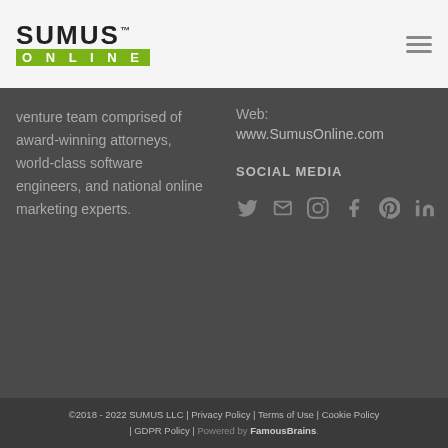[Figure (logo): Sumus Online logo with green background for ONLINE text]
venture team comprised of award-winning attorneys, world-class software engineers, and national online marketing experts.
Web: www.SumusOnline.com
SOCIAL MEDIA
[Figure (infographic): Social media icons: Twitter, Email, Instagram, Facebook, Pinterest, LinkedIn]
©2018 - 2022 SUMUS LLC | Privacy Policy | Terms of Use | Cookie Policy | GDPR Policy | Powered by FamousBrains.